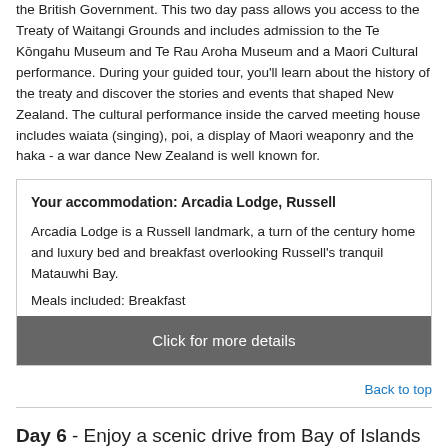the British Government. This two day pass allows you access to the Treaty of Waitangi Grounds and includes admission to the Te Kōngahu Museum and Te Rau Aroha Museum and a Maori Cultural performance. During your guided tour, you'll learn about the history of the treaty and discover the stories and events that shaped New Zealand. The cultural performance inside the carved meeting house includes waiata (singing), poi, a display of Maori weaponry and the haka - a war dance New Zealand is well known for.
Your accommodation: Arcadia Lodge, Russell

Arcadia Lodge is a Russell landmark, a turn of the century home and luxury bed and breakfast overlooking Russell's tranquil Matauwhi Bay.
Meals included: Breakfast
[Click for more details]
Back to top
Day 6 - Enjoy a scenic drive from Bay of Islands to Auckland